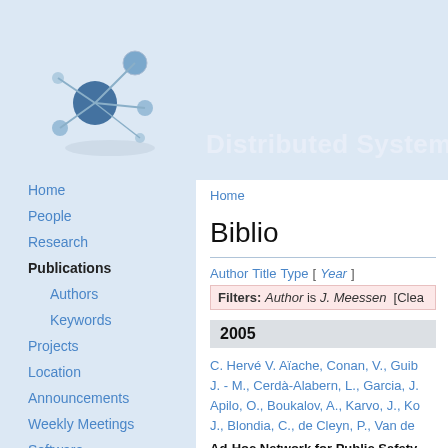[Figure (logo): Network graph logo with connected nodes in blue tones]
Distributed Systems Gr
Home
People
Research
Publications
Authors
Keywords
Projects
Location
Announcements
Weekly Meetings
Software
Former Members
Home
Biblio
Author Title Type [ Year ]
Filters: Author is J. Meessen [Clea
2005
C. Hervé V. Aïache, Conan, V., Guib J. - M., Cerdà-Alabern, L., Garcia, J Apilo, O., Boukalov, A., Karvo, J., Ko J., Blondia, C., de Cleyn, P., Van de
Ad-Hoc Network for Public Safety Summit, Dresden, Germany, 2005.
2004